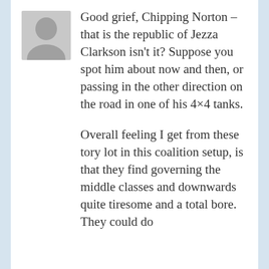[Figure (illustration): Generic grey avatar placeholder icon showing a silhouette of a person (head and shoulders)]
Good grief, Chipping Norton – that is the republic of Jezza Clarkson isn't it? Suppose you spot him about now and then, or passing in the other direction on the road in one of his 4×4 tanks.

Overall feeling I get from these tory lot in this coalition setup, is that they find governing the middle classes and downwards quite tiresome and a total bore. They could do